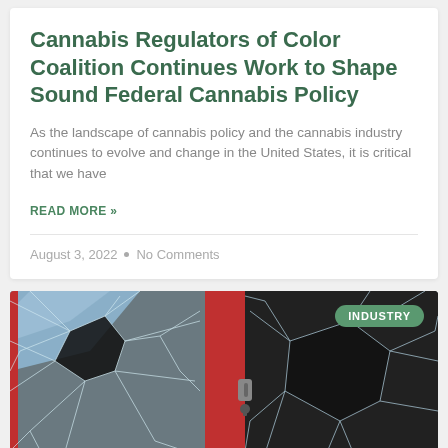Cannabis Regulators of Color Coalition Continues Work to Shape Sound Federal Cannabis Policy
As the landscape of cannabis policy and the cannabis industry continues to evolve and change in the United States, it is critical that we have
READ MORE »
August 3, 2022  •  No Comments
[Figure (photo): Photo of a broken glass door or window with red frame, showing shattered glass with cracks radiating from impact points. An 'INDUSTRY' badge is overlaid in the top right corner of the image.]